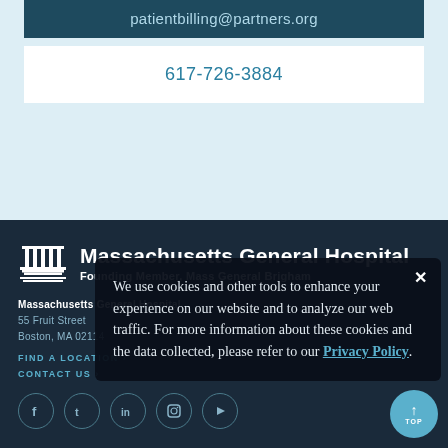patientbilling@partners.org
617-726-3884
[Figure (logo): Massachusetts General Hospital logo with columned building icon]
Massachusetts General Hospital
Founding Member, Mass General Brigham
Massachusetts General Hospital
55 Fruit Street
Boston, MA 02114
FIND A LOCATION ›
CONTACT US ›
We use cookies and other tools to enhance your experience on our website and to analyze our web traffic. For more information about these cookies and the data collected, please refer to our Privacy Policy.
[Figure (other): Social media icons: Facebook, Twitter, LinkedIn, Instagram, YouTube]
TOP